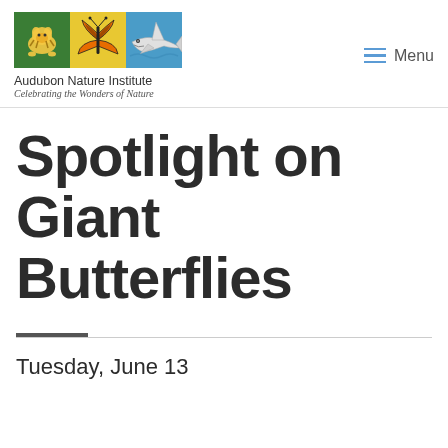[Figure (logo): Audubon Nature Institute logo with three animal icons (tiger on green, butterfly on yellow, shark on blue), org name 'Audubon Nature Institute', tagline 'Celebrating the Wonders of Nature']
Spotlight on Giant Butterflies
Tuesday, June 13